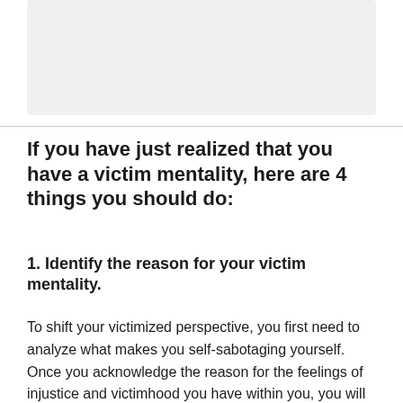[Figure (other): Light gray rectangular image placeholder area at top of page]
If you have just realized that you have a victim mentality, here are 4 things you should do:
1. Identify the reason for your victim mentality.
To shift your victimized perspective, you first need to analyze what makes you self-sabotaging yourself. Once you acknowledge the reason for the feelings of injustice and victimhood you have within you, you will be